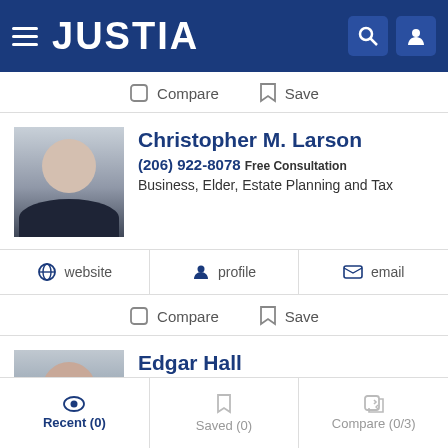JUSTIA
Compare  Save
Christopher M. Larson
(206) 922-8078 Free Consultation
Business, Elder, Estate Planning and Tax
website  profile  email
Compare  Save
Edgar Hall
(206) 535-2559 Free Consultation
Bankruptcy, Collections, Consumer and Foreclosure Defense
Recent (0)  Saved (0)  Compare (0/3)